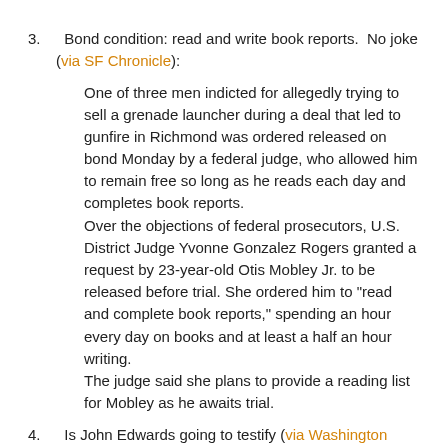3.  Bond condition: read and write book reports.  No joke (via SF Chronicle):
One of three men indicted for allegedly trying to sell a grenade launcher during a deal that led to gunfire in Richmond was ordered released on bond Monday by a federal judge, who allowed him to remain free so long as he reads each day and completes book reports.
Over the objections of federal prosecutors, U.S. District Judge Yvonne Gonzalez Rogers granted a request by 23-year-old Otis Mobley Jr. to be released before trial. She ordered him to "read and complete book reports," spending an hour every day on books and at least a half an hour writing.
The judge said she plans to provide a reading list for Mobley as he awaits trial.
4.  Is John Edwards going to testify (via Washington Post):